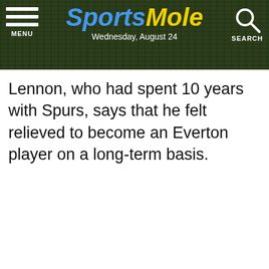Sports Mole — Wednesday, August 24
Lennon, who had spent 10 years with Spurs, says that he felt relieved to become an Everton player on a long-term basis.